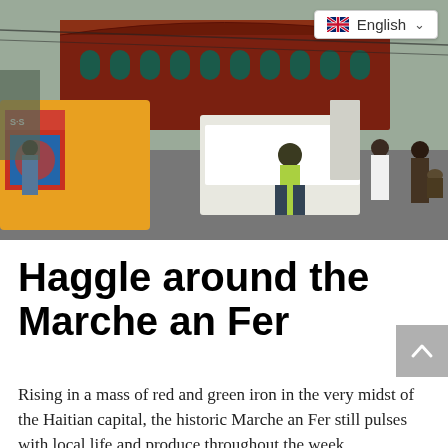[Figure (photo): Street market scene in Haiti showing colorful decorated buses/tap-taps, a white SUV with open trunk, vendors and pedestrians, with a large red and green iron market building in the background]
Haggle around the Marche an Fer
Rising in a mass of red and green iron in the very midst of the Haitian capital, the historic Marche an Fer still pulses with local life and produce throughout the week.